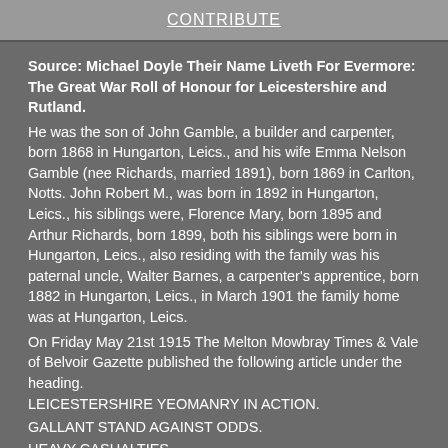CONTRIBUTE
Source: Michael Doyle Their Name Liveth For Evermore: The Great War Roll of Honour for Leicestershire and Rutland. He was the son of John Gamble, a builder and carpenter, born 1868 in Hungarton, Leics., and his wife Emma Nelson Gamble (nee Richards, married 1891), born 1869 in Carlton, Notts. John Robert M., was born in 1892 in Hungarton, Leics., his siblings were, Florence Mary, born 1895 and Arthur Richards, born 1899, both his siblings were born in Hungarton, Leics., also residing with the family was his paternal uncle, Walter Barnes, a carpenter's apprentice, born 1882 in Hungarton, Leics., in March 1901 the family home was at Hungarton, Leics. On Friday May 21st 1915 The Melton Mowbray Times & Vale of Belvoir Gazette published the following article under the heading. LEICESTERSHIRE YEOMANRY IN ACTION. GALLANT STAND AGAINST ODDS. HEAVY CASUALTIES. MANY WOUNDED AND MISSING. COLONEL FREKE'S BRAVE ACT. Exactly twelve months ago the Leicestershire Yeomanry Regiment were located in Colonel J. F. Laycock's field on the Scalford Road for the purpose of undergoing their annual training, and unhappily many